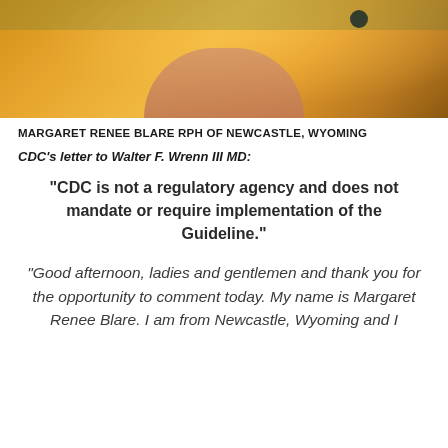[Figure (photo): Close-up photo of a person wearing a yellow/golden hoodie jacket, outdoors with foliage in background.]
MARGARET RENEE BLARE RPH OF NEWCASTLE, WYOMING
CDC's letter to Walter F. Wrenn III MD:
“CDC is not a regulatory agency and does not mandate or require implementation of the Guideline.”
“Good afternoon, ladies and gentlemen and thank you for the opportunity to comment today. My name is Margaret Renee Blare. I am from Newcastle, Wyoming and I